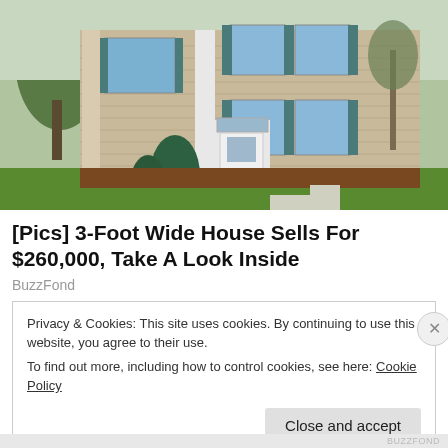[Figure (photo): Exterior photo of a two-story tan/beige colonial-style house with teal/green shutters, white front door, evergreen shrubs, green lawn, and trees in the background.]
[Pics] 3-Foot Wide House Sells For $260,000, Take A Look Inside
BuzzFond
Privacy & Cookies: This site uses cookies. By continuing to use this website, you agree to their use.
To find out more, including how to control cookies, see here: Cookie Policy
Close and accept